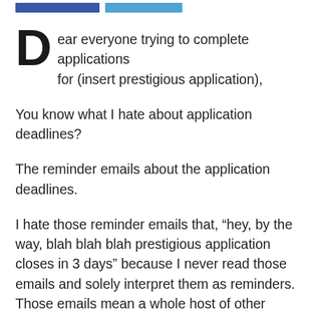[blue navigation bars]
Dear everyone trying to complete applications for (insert prestigious application),
You know what I hate about application deadlines?
The reminder emails about the application deadlines.
I hate those reminder emails that, “hey, by the way, blah blah blah prestigious application closes in 3 days” because I never read those emails and solely interpret them as reminders. Those emails mean a whole host of other things to me, too.
It means, “hey, get your life together because everyone else does and you only have 3 more days